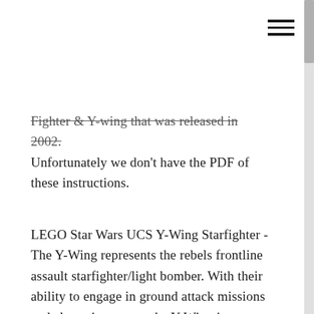[Figure (other): Hamburger menu icon - three horizontal parallel lines in top right corner]
Fighter & Y-wing that was released in 2002. Unfortunately we don't have the PDF of these instructions.
LEGO Star Wars UCS Y-Wing Starfighter - The Y-Wing represents the rebels frontline assault starfighter/light bomber. With their ability to engage in ground attack missions and close air support, the Y-Wing is a popular addition to the rebels fleet. BTL-A4 Y-wing. Help the Rebel Alliance with a great custom Y-Wing! This excellent Star Wars model is essentially a UCS scale ship. The author has created a parts list to go along with the instructions - download it and get building. There is a short readme on how to